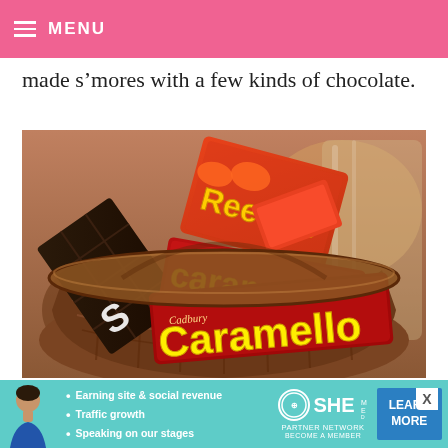≡ MENU
made s’mores with a few kinds of chocolate.
[Figure (photo): A wicker basket filled with various chocolate candy bars including Reese's, Hershey's, and Cadbury Caramello bars]
[Figure (infographic): Advertisement banner for SHE Partner Network featuring a woman and bullet points: Earning site & social revenue, Traffic growth, Speaking on our stages. Includes SHE logo and LEARN MORE button.]